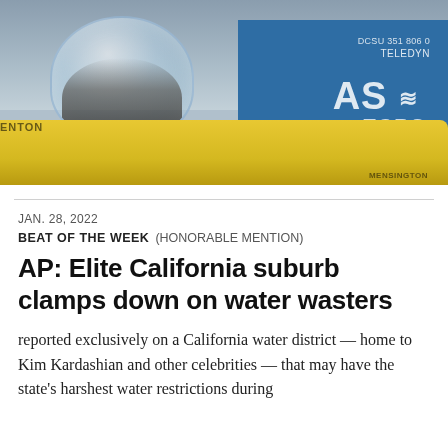[Figure (photo): Photograph of people inside a yellow submarine's transparent dome bubble, with a blue shipping container in the background labeled 'AS TCRS' and 'DCSU 351 806 0', taken outdoors under a cloudy sky.]
JAN. 28, 2022
BEAT OF THE WEEK   (HONORABLE MENTION)
AP: Elite California suburb clamps down on water wasters
reported exclusively on a California water district — home to Kim Kardashian and other celebrities — that may have the state's harshest water restrictions during